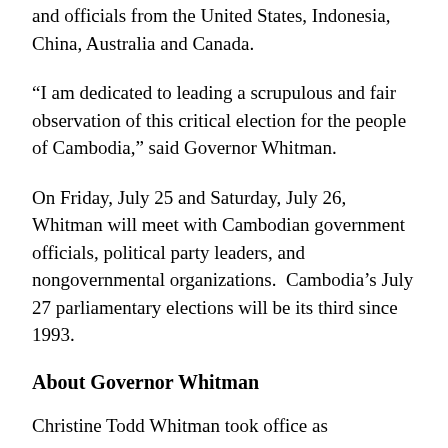and officials from the United States, Indonesia, China, Australia and Canada.
“I am dedicated to leading a scrupulous and fair observation of this critical election for the people of Cambodia,” said Governor Whitman.
On Friday, July 25 and Saturday, July 26, Whitman will meet with Cambodian government officials, political party leaders, and nongovernmental organizations.  Cambodia’s July 27 parliamentary elections will be its third since 1993.
About Governor Whitman
Christine Todd Whitman took office as